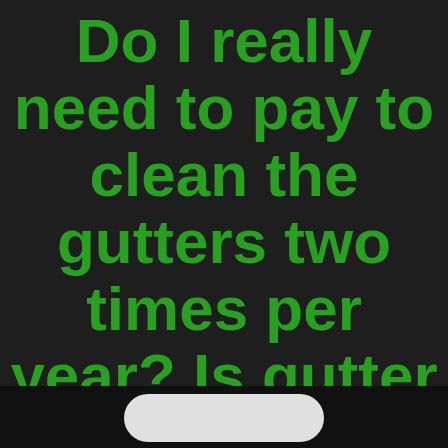Do I really need to pay to clean the gutters two times per year? Is gutter cleaning necessary?